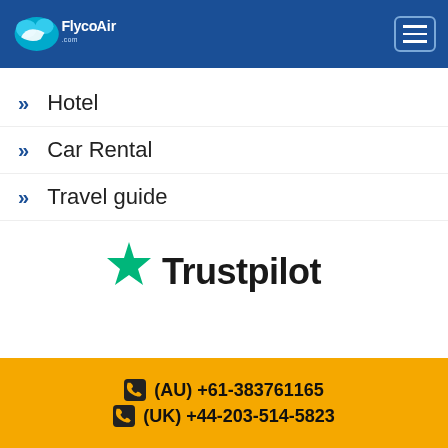FlycoAir.com
Hotel
Car Rental
Travel guide
[Figure (logo): Trustpilot logo with green star and dark text]
Get Our Newsletter
(AU) +61-383761165 | (UK) +44-203-514-5823